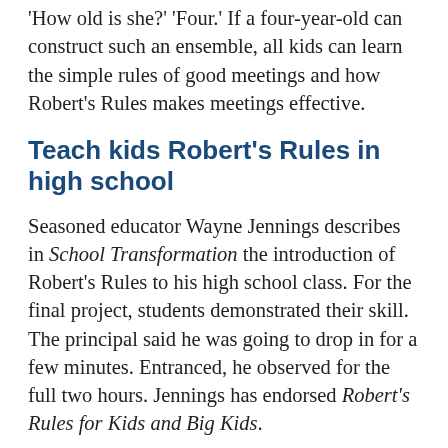'How old is she?' 'Four.' If a four-year-old can construct such an ensemble, all kids can learn the simple rules of good meetings and how Robert's Rules makes meetings effective.
Teach kids Robert's Rules in high school
Seasoned educator Wayne Jennings describes in School Transformation the introduction of Robert's Rules to his high school class. For the final project, students demonstrated their skill. The principal said he was going to drop in for a few minutes. Entranced, he observed for the full two hours. Jennings has endorsed Robert's Rules for Kids and Big Kids.
Democracy, manifested in Robert's Rules of Order, helps solve problems building on the diverse talents of the group. It's why this ancient concept survives. Robert's Rules of Order has meaning with i...